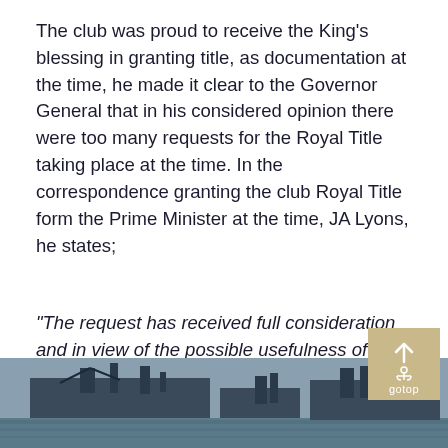The club was proud to receive the King's blessing in granting title, as documentation at the time, he made it clear to the Governor General that in his considered opinion there were too many requests for the Royal Title taking place at the time. In the correspondence granting the club Royal Title form the Prime Minister at the time, JA Lyons, he states;
“The request has received full consideration and in view of the possible usefulness of the Club from a national standpoint in time of emergency it is desired to support the application”.
[Figure (photo): Black and white photo strip showing naval vessels or ships with cranes/masts visible against a grey sky]